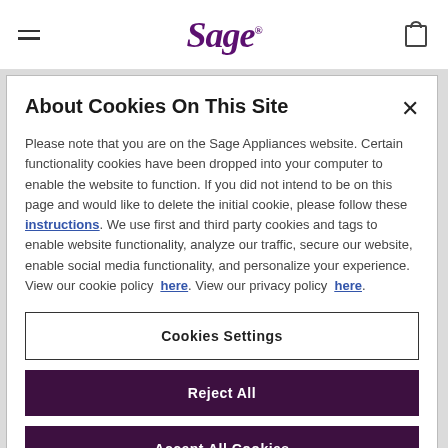Sage
About Cookies On This Site
Please note that you are on the Sage Appliances website. Certain functionality cookies have been dropped into your computer to enable the website to function. If you did not intend to be on this page and would like to delete the initial cookie, please follow these instructions. We use first and third party cookies and tags to enable website functionality, analyze our traffic, secure our website, enable social media functionality, and personalize your experience. View our cookie policy here. View our privacy policy here.
Cookies Settings
Reject All
Accept All Cookies